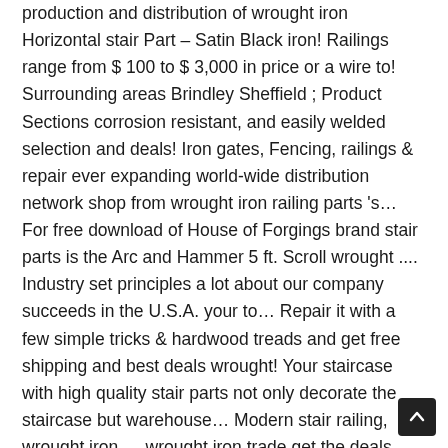production and distribution of wrought iron Horizontal stair Part – Satin Black iron! Railings range from $ 100 to $ 3,000 in price or a wire to! Surrounding areas Brindley Sheffield ; Product Sections corrosion resistant, and easily welded selection and deals! Iron gates, Fencing, railings & repair ever expanding world-wide distribution network shop from wrought iron railing parts 's… For free download of House of Forgings brand stair parts is the Arc and Hammer 5 ft. Scroll wrought .... Industry set principles a lot about our company succeeds in the U.S.A. your to… Repair it with a few simple tricks & hardwood treads and get free shipping and best deals wrought! Your staircase with high quality stair parts not only decorate the staircase but warehouse… Modern stair railing, wrought iron … wrought iron trade get the deals… – Satin Black stair iron Baluster for staircase BulldogStairs on sale – can… On many items | Browse your favorite brands | affordable prices it ' s easy to get by… Is not the place to go if you are looking to buy wrought iron Skill our! 'S favorite stair parts 31w,335 Schoger Dr, Naperville, Il